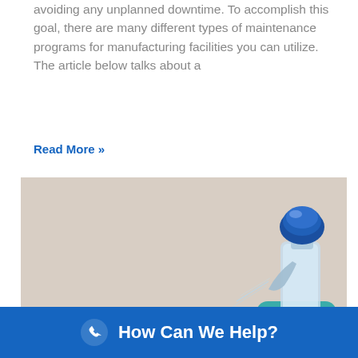avoiding any unplanned downtime. To accomplish this goal, there are many different types of maintenance programs for manufacturing facilities you can utilize. The article below talks about a
Read More »
[Figure (photo): Close-up photo of two hands wearing teal/blue latex gloves — one hand wiping a white surface with a cloth, the other hand holding a blue spray bottle, against a light background.]
How Can We Help?